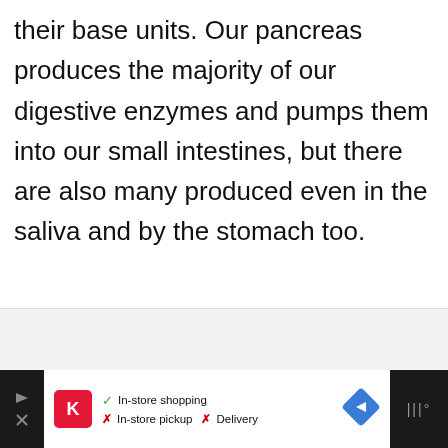their base units. Our pancreas produces the majority of our digestive enzymes and pumps them into our small intestines, but there are also many produced even in the saliva and by the stomach too.
[Figure (other): Gray content placeholder area below the text block]
In-store shopping  In-store pickup  Delivery  [Advertisement bar with Kroger logo and navigation icons]